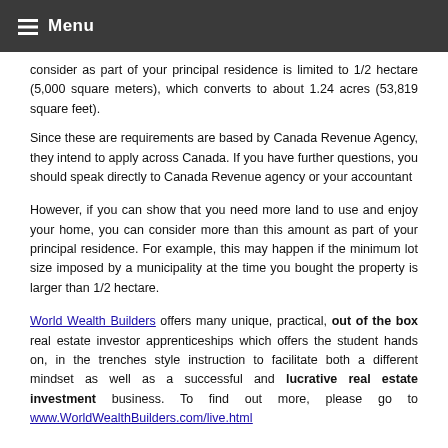Menu
consider as part of your principal residence is limited to 1/2 hectare (5,000 square meters), which converts to about 1.24 acres (53,819 square feet).
Since these are requirements are based by Canada Revenue Agency, they intend to apply across Canada. If you have further questions, you should speak directly to Canada Revenue agency or your accountant
However, if you can show that you need more land to use and enjoy your home, you can consider more than this amount as part of your principal residence. For example, this may happen if the minimum lot size imposed by a municipality at the time you bought the property is larger than 1/2 hectare.
World Wealth Builders offers many unique, practical, out of the box real estate investor apprenticeships which offers the student hands on, in the trenches style instruction to facilitate both a different mindset as well as a successful and lucrative real estate investment business. To find out more, please go to www.WorldWealthBuilders.com/live.html